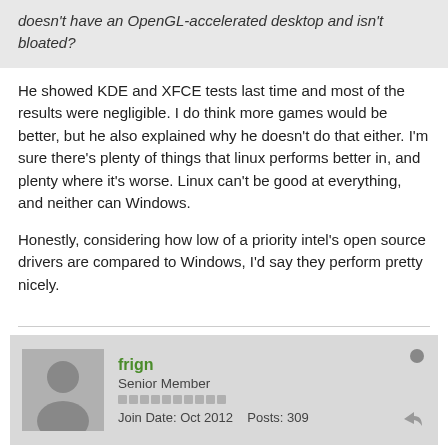doesn't have an OpenGL-accelerated desktop and isn't bloated?
He showed KDE and XFCE tests last time and most of the results were negligible. I do think more games would be better, but he also explained why he doesn't do that either. I'm sure there's plenty of things that linux performs better in, and plenty where it's worse. Linux can't be good at everything, and neither can Windows.
Honestly, considering how low of a priority intel's open source drivers are compared to Windows, I'd say they perform pretty nicely.
frign
Senior Member
Join Date: Oct 2012    Posts: 309
05 April 2013, 04:13 PM